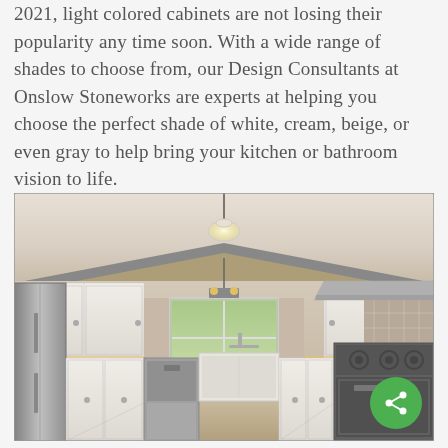2021, light colored cabinets are not losing their popularity any time soon. With a wide range of shades to choose from, our Design Consultants at Onslow Stoneworks are experts at helping you choose the perfect shade of white, cream, beige, or even gray to help bring your kitchen or bathroom vision to life.
[Figure (photo): A bright kitchen interior with white shaker-style cabinets, stainless steel appliances including a refrigerator and range, warm under-cabinet lighting, a farmhouse sink, tile backsplash, and a window above the sink. Vaulted ceiling with cove lighting and a pendant light.]